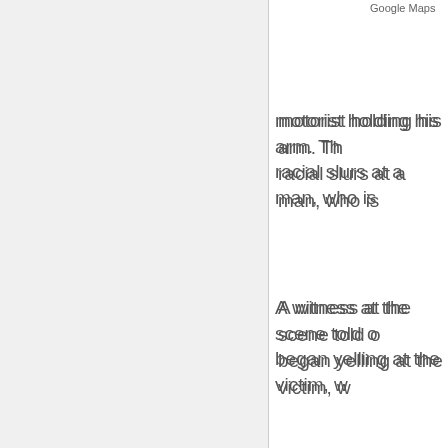[Figure (screenshot): Left panel showing a map or image area with gray/light background]
Google Maps
motorist holding his arm. The racial slurs at a man, who is
A witness at the scene told o began yelling at the victim, w
The suspect got out of his ca walking away. The 52-year-o the victim, who changed cou and tried to run the man ove
At this point, according to th began punching him before
The suspect then threw a ha